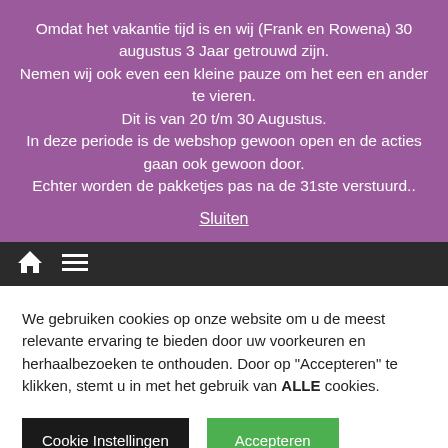Omdat het vakantie tijd is en wij (Frank en Rowena) 30 augustus 3 Jaar getrouwd zijn.
Nemen wij ook even een kleine pauze om het een en ander te vieren.
Dit is van 20 t/m 30 Augustus.
In deze periode is de webshop gewoon open en de acties gaan ook gewoon door.
Echter worden de pakketjes pas na de 31ste verstuurd..
Sluiten
We gebruiken cookies op onze website om u de meest relevante ervaring te bieden door uw voorkeuren en herhaalbezoeken te onthouden. Door op "Accepteren" te klikken, stemt u in met het gebruik van ALLE cookies.
Cookie Instellingen
Accepteren